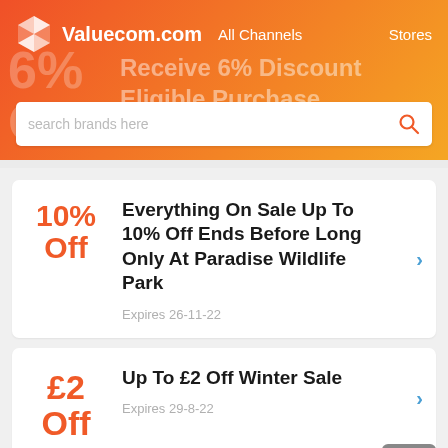[Figure (screenshot): Valuecom.com website header with logo, navigation links All Channels and Stores, watermark text 6% Receive 6% Discount Eligible Purchase Off, and a search brands here input bar]
Receive 6% Discount Eligible Purchase Off
search brands here
10% Off
Everything On Sale Up To 10% Off Ends Before Long Only At Paradise Wildlife Park
Expires 26-11-22
£2 Off
Up To £2 Off Winter Sale
Expires 29-8-22